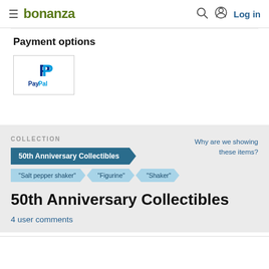bonanza — Log in
Payment options
[Figure (logo): PayPal logo inside a bordered box]
COLLECTION
Why are we showing these items?
50th Anniversary Collectibles
"Salt pepper shaker"  "Figurine"  "Shaker"
50th Anniversary Collectibles
4 user comments